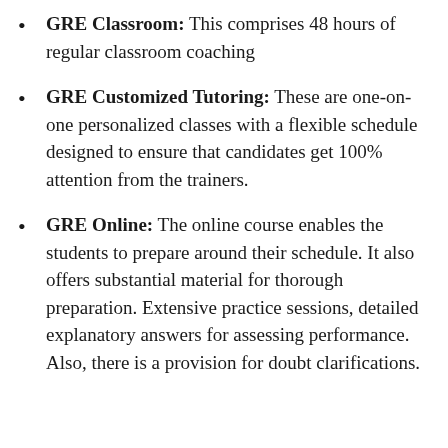GRE Classroom: This comprises 48 hours of regular classroom coaching
GRE Customized Tutoring: These are one-on-one personalized classes with a flexible schedule designed to ensure that candidates get 100% attention from the trainers.
GRE Online: The online course enables the students to prepare around their schedule. It also offers substantial material for thorough preparation. Extensive practice sessions, detailed explanatory answers for assessing performance. Also, there is a provision for doubt clarifications.